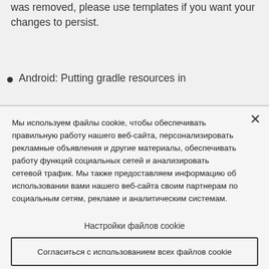was removed, please use templates if you want your changes to persist.
Android: Putting gradle resources in
Мы используем файлы cookie, чтобы обеспечивать правильную работу нашего веб-сайта, персонализировать рекламные объявления и другие материалы, обеспечивать работу функций социальных сетей и анализировать сетевой трафик. Мы также предоставляем информацию об использовании вами нашего веб-сайта своим партнерам по социальным сетям, рекламе и аналитическим системам.
Настройки файлов cookie
Согласиться с использованием всех файлов cookie